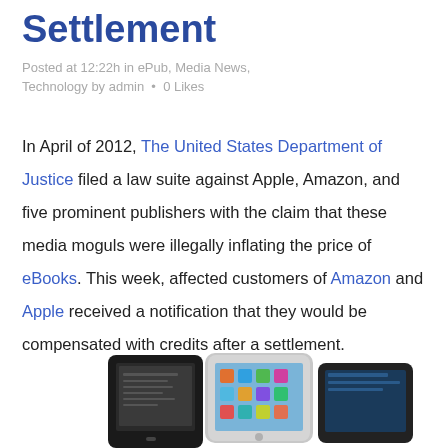Settlement
Posted at 12:22h in ePub, Media News, Technology by admin  •  0 Likes
In April of 2012, The United States Department of Justice filed a law suite against Apple, Amazon, and five prominent publishers with the claim that these media moguls were illegally inflating the price of eBooks. This week, affected customers of Amazon and Apple received a notification that they would be compensated with credits after a settlement.
[Figure (photo): Photo of e-reader and tablet devices (Kindle and iPad) shown at the bottom of the page]